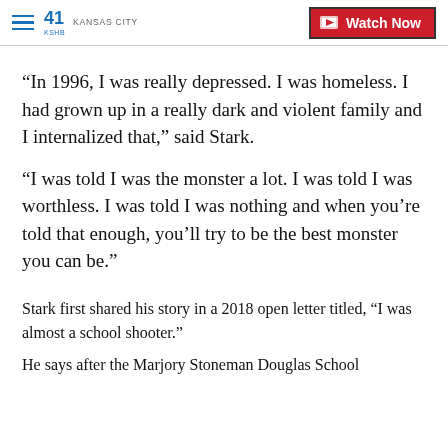41 KSHB KANSAS CITY | Watch Now
“In 1996, I was really depressed. I was homeless. I had grown up in a really dark and violent family and I internalized that,” said Stark.
“I was told I was the monster a lot. I was told I was worthless. I was told I was nothing and when you’re told that enough, you’ll try to be the best monster you can be.”
Stark first shared his story in a 2018 open letter titled, “I was almost a school shooter.”
He says after the Marjory Stoneman Douglas School